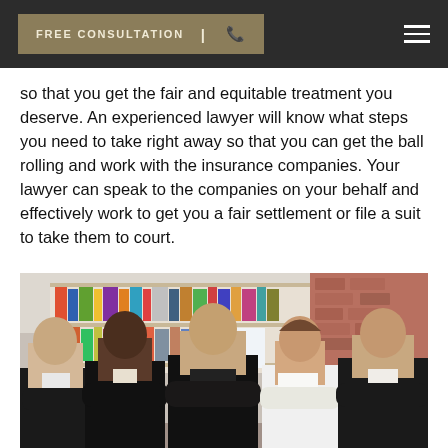FREE CONSULTATION | [phone icon]
so that you get the fair and equitable treatment you deserve. An experienced lawyer will know what steps you need to take right away so that you can get the ball rolling and work with the insurance companies. Your lawyer can speak to the companies on your behalf and effectively work to get you a fair settlement or file a suit to take them to court.
[Figure (photo): Five professional lawyers in business attire standing with arms crossed in an office setting with bookshelves in the background. Three men and one woman are visible, posed confidently.]